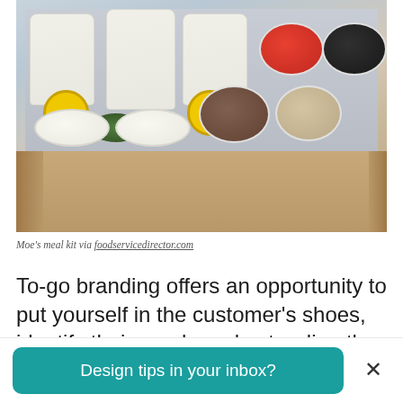[Figure (photo): Moe's meal kit — an open cardboard box containing chip bags with yellow Moe's logo circles, bowls of jalapenos, sauces, refried beans, red tomatoes, black beans, and other toppings]
Moe's meal kit via foodservicedirector.com
To-go branding offers an opportunity to put yourself in the customer's shoes, identify their needs and cater directly to them. Even McDonalds recently jumped on the creativity
[Figure (infographic): Teal call-to-action button reading 'Design tips in your inbox?' with an X close button]